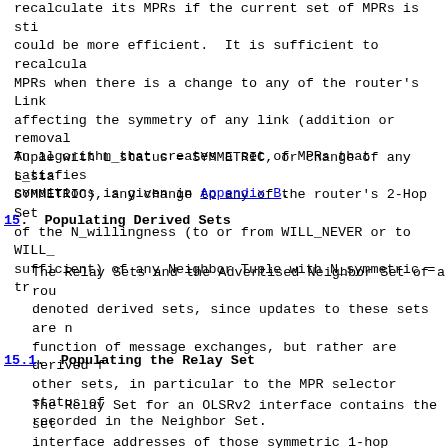recalculate its MPRs if the current set of MPRs is still could be more efficient. It is sufficient to recalculate MPRs when there is a change to any of the router's Link affecting the symmetry of any link (addition or removal Tuple with L_status = SYMMETRIC, or change of any L_sta SYMMETRIC), any change to any of the router's 2-Hop Set of the N_willingness (to or from WILL_NEVER or to WILL_ sufficient) of any Neighbor Tuple with N_symmetric = tr
An algorithm that creates a set of MPRs that satisfies conditions is given in Appendix B.
15. Populating Derived Sets
The Relay Sets and the Advertised Neighbor Set of a rou denoted derived sets, since updates to these sets are n function of message exchanges, but rather are derived f other sets, in particular to the MPR selector status of recorded in the Neighbor Set.
15.1. Populating the Relay Set
The Relay Set for an OLSRv2 interface contains the set interface addresses of those symmetric 1-hop neighbors OLSRv2 interface is to relay broadcast traffic. This s contain only addresses of OLSRv2 interfaces with which interface has a symmetric link. This set MUST include addresses of all such OLSRv2 interfaces of routers whic